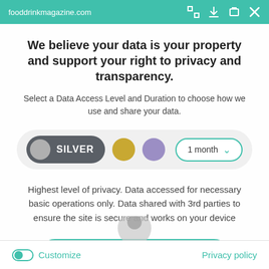fooddrinkmagazine.com
We believe your data is your property and support your right to privacy and transparency.
Select a Data Access Level and Duration to choose how we use and share your data.
[Figure (infographic): Privacy level selector row with SILVER pill toggle (dark grey background, grey circle, white SILVER text), gold circle button, purple circle button, and '1 month' dropdown selector with teal border]
Highest level of privacy. Data accessed for necessary basic operations only. Data shared with 3rd parties to ensure the site is secure and works on your device
Save my preferences
Customize
Privacy policy